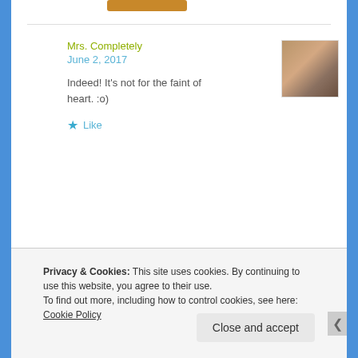[Figure (photo): Orange/brown button partially visible at top of page]
Mrs. Completely
June 2, 2017
[Figure (photo): Avatar photo of a woman with glasses and brown hair]
Indeed! It's not for the faint of heart. :o)
★ Like
Weltchysnotebook
[Figure (photo): Avatar photo showing a smiling person]
Privacy & Cookies: This site uses cookies. By continuing to use this website, you agree to their use.
To find out more, including how to control cookies, see here: Cookie Policy
Close and accept